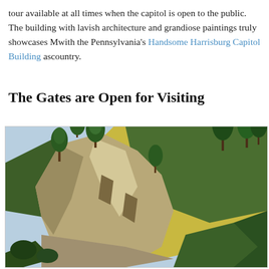tour available at all times when the capitol is open to the public. The building with lavish architecture and grandiose paintings truly showcases M... with the Pennsylvania's Handsome Harrisburg Capitol Building as ... country.
The Gates are Open for Visiting
[Figure (photo): Outdoor landscape photo showing large rocky cliff formations in the foreground with evergreen pine trees growing on and around the rocks, and a wooded mountainside with mixed green and golden-yellow foliage in the background under a clear sky.]